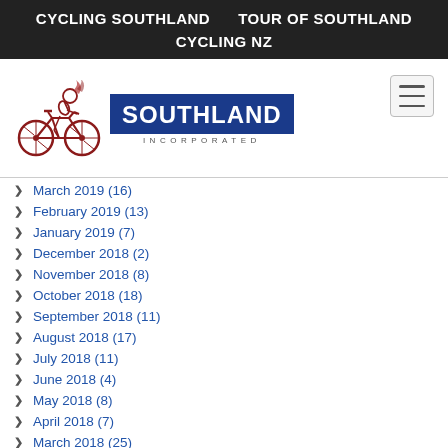CYCLING SOUTHLAND    TOUR OF SOUTHLAND    CYCLING NZ
[Figure (logo): Cycling Southland Incorporated logo with cyclist illustration and blue SOUTHLAND text box]
March 2019 (16)
February 2019 (13)
January 2019 (7)
December 2018 (2)
November 2018 (8)
October 2018 (18)
September 2018 (11)
August 2018 (17)
July 2018 (11)
June 2018 (4)
May 2018 (8)
April 2018 (7)
March 2018 (25)
February 2018 (17)